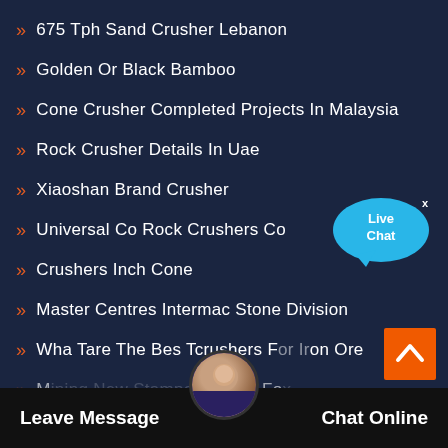675 Tph Sand Crusher Lebanon
Golden Or Black Bamboo
Cone Crusher Completed Projects In Malaysia
Rock Crusher Details In Uae
Xiaoshan Brand Crusher
Universal Co Rock Crushers Co
Crushers Inch Cone
Master Centres Intermac Stone Division
Wha Tare The Bes Tcrushers For Iron Ore
Mining New Stampede Buck Fox
[Figure (other): Live Chat speech bubble widget with blue color and white text]
[Figure (other): Scroll to top orange button with upward chevron arrow]
Leave Message
Chat Online